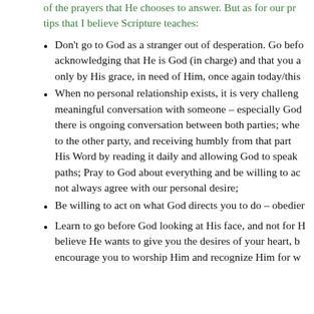of the prayers that He chooses to answer. But as for our pr tips that I believe Scripture teaches:
Don't go to God as a stranger out of desperation. Go before Him acknowledging that He is God (in charge) and that you are here only by His grace, in need of Him, once again today/this
When no personal relationship exists, it is very challenging to have a meaningful conversation with someone – especially God. Where there is ongoing conversation between both parties; where speaking to the other party, and receiving humbly from that party... His Word by reading it daily and allowing God to speak to our paths; Pray to God about everything and be willing to accept not always agree with our personal desire;
Be willing to act on what God directs you to do – obedien
Learn to go before God looking at His face, and not for H believe He wants to give you the desires of your heart, b encourage you to worship Him and recognize Him for w